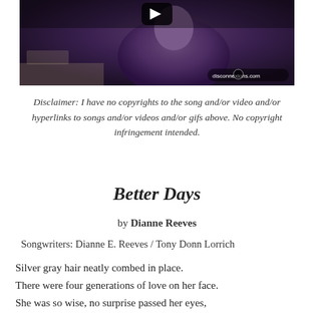[Figure (screenshot): Video thumbnail showing a person in a purple tie-dye shirt, with a play button overlay and 'disconnexions.com' watermark in the bottom right]
Disclaimer: I have no copyrights to the song and/or video and/or hyperlinks to songs and/or videos and/or gifs above. No copyright infringement intended.
Better Days
by Dianne Reeves
Songwriters: Dianne E. Reeves / Tony Donn Lorrich
Silver gray hair neatly combed in place.
There were four generations of love on her face.
She was so wise, no surprise passed her eyes,